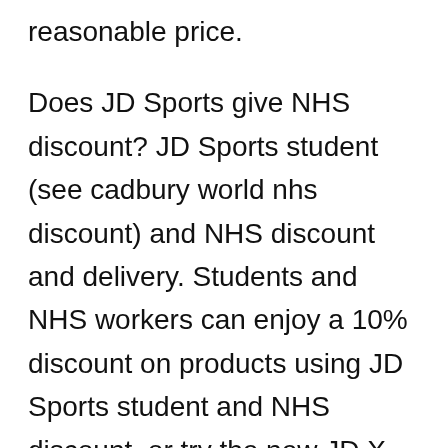reasonable price.
Does JD Sports give NHS discount? JD Sports student (see cadbury world nhs discount) and NHS discount and delivery. Students and NHS workers can enjoy a 10% discount on products using JD Sports student and NHS discount, or try the new JD X Unlimited Delivery to get